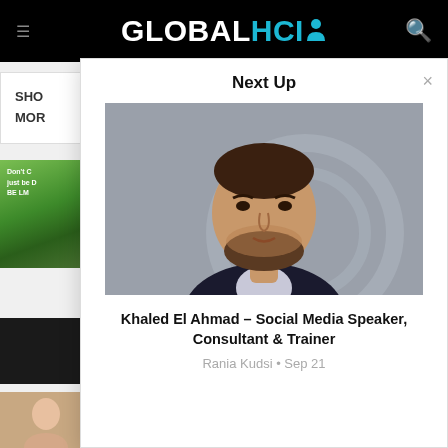GLOBALHCI
SHO
MOR
[Figure (photo): Book cover with green mountain background, text: Don't C just be D BE LM]
[Figure (photo): Dark grey/black card thumbnail]
[Figure (photo): Woman portrait thumbnail]
Next Up
[Figure (photo): Portrait of a bearded man in dark suit jacket, professional headshot against a grey background]
Khaled El Ahmad – Social Media Speaker, Consultant & Trainer
Rania Kudsi • Sep 21